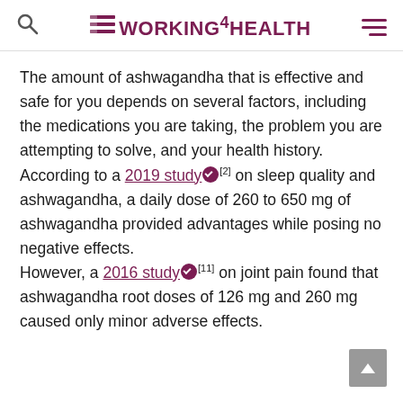WORKING4HEALTH
The amount of ashwagandha that is effective and safe for you depends on several factors, including the medications you are taking, the problem you are attempting to solve, and your health history.
According to a 2019 study [2] on sleep quality and ashwagandha, a daily dose of 260 to 650 mg of ashwagandha provided advantages while posing no negative effects.
However, a 2016 study [11] on joint pain found that ashwagandha root doses of 126 mg and 260 mg caused only minor adverse effects.